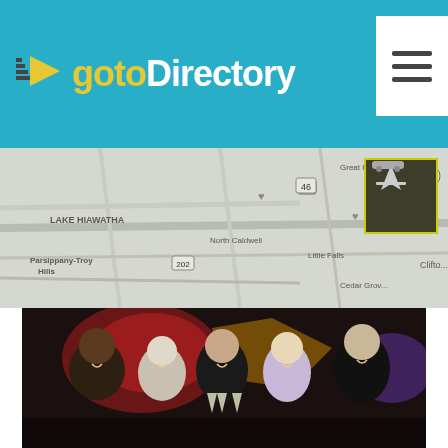[Figure (logo): gotoDirectory logo with arrow icon on teal/cyan background header]
[Figure (map): Google Maps style road map showing New Jersey area including Lake Hiawatha, Parsippany-Troy Hills, Great Piece Meadows, North Caldwell, Little Falls, Woodland Park, Clifton]
[Figure (photo): Five formally dressed people toasting with champagne glasses in front of neon lights, black tie event]